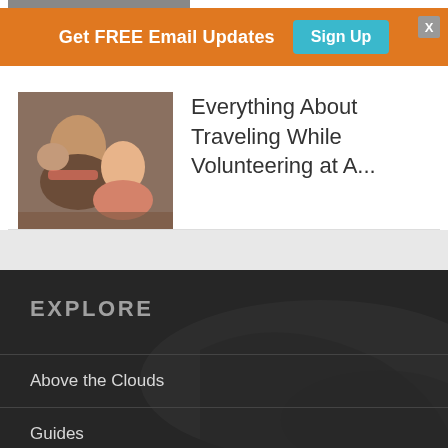[Figure (screenshot): Partial image at top of page, cropped travel/volunteer photo]
Get FREE Email Updates  Sign Up
[Figure (photo): Thumbnail photo of people volunteering, possibly braiding hair or crafts]
Everything About Traveling While Volunteering at A...
EXPLORE
Above the Clouds
Guides
Highlight of the Month
Interviews